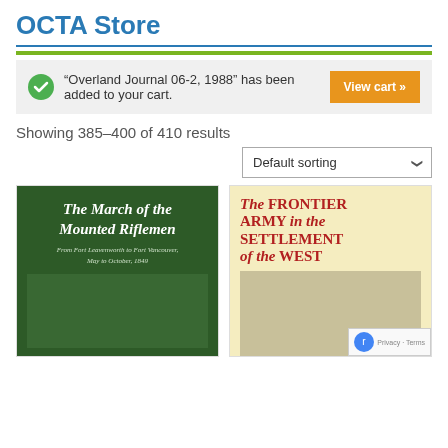OCTA Store
“Overland Journal 06-2, 1988” has been added to your cart.
Showing 385–400 of 410 results
[Figure (screenshot): Default sorting dropdown selector]
[Figure (illustration): Book cover: The March of the Mounted Riflemen, From Fort Leavenworth to Fort Vancouver, May to October, 1849. Dark green cover with white serif text.]
[Figure (illustration): Book cover: The Frontier Army in the Settlement of the West. Cream/yellow cover with large bold red serif text and a landscape image.]